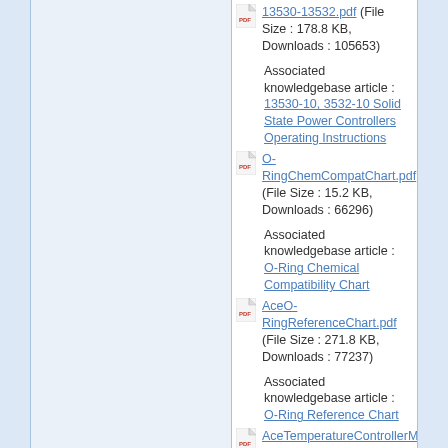13530-13532.pdf (File Size : 178.8 KB, Downloads : 105653)
Associated knowledgebase article : 13530-10, 3532-10 Solid State Power Controllers Operating Instructions
O-RingChemCompatChart.pdf (File Size : 15.2 KB, Downloads : 66296)
Associated knowledgebase article : O-Ring Chemical Compatibility Chart
AceO-RingReferenceChart.pdf (File Size : 271.8 KB, Downloads : 77237)
Associated knowledgebase article : O-Ring Reference Chart
AceTemperatureControllerManual (File Size : 0.8 MB, Downloads : 100340)